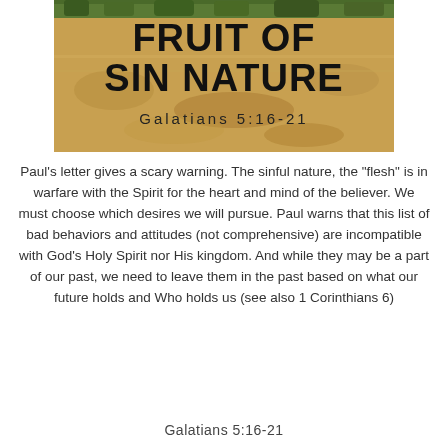[Figure (photo): Photo of a rocky creek or river with muddy/sandy water and green trees in the background. Overlaid text reads 'FRUIT OF SIN NATURE' in large bold black letters and 'Galatians 5:16-21' in spaced lettering below.]
Paul’s letter gives a scary warning. The sinful nature, the “flesh” is in warfare with the Spirit for the heart and mind of the believer. We must choose which desires we will pursue. Paul warns that this list of bad behaviors and attitudes (not comprehensive) are incompatible with God’s Holy Spirit nor His kingdom. And while they may be a part of our past, we need to leave them in the past based on what our future holds and Who holds us (see also 1 Corinthians 6)
Galatians 5:16-21